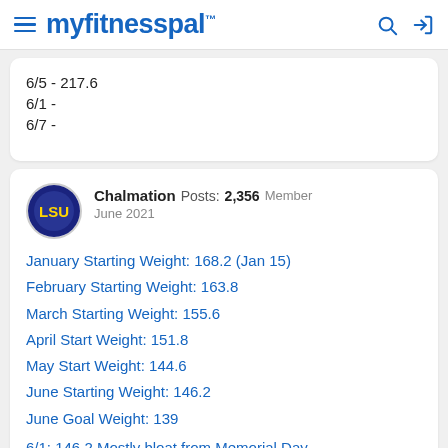myfitnesspal
6/5 - 217.6
6/1 -
6/7 -
Chalmation  Posts: 2,356  Member
June 2021
January Starting Weight: 168.2 (Jan 15)
February Starting Weight: 163.8
March Starting Weight: 155.6
April Start Weight: 151.8
May Start Weight: 144.6
June Starting Weight: 146.2
June Goal Weight: 139
6/1: 146.2 Mostly bloat from Memorial Day...